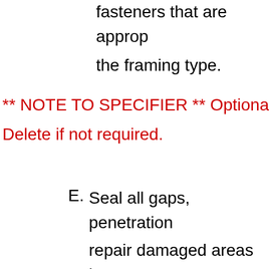fasteners that are approp the framing type.
** NOTE TO SPECIFIER ** Optiona Delete if not required.
E. Seal all gaps, penetrations, repair damaged areas by a silicone sealant comply ASTM C 920, Type S, Gr NS, Class 25, or expandi